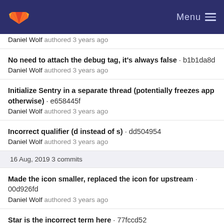GitLab — Menu
(partial commit title) — Daniel Wolf authored 3 years ago
No need to attach the debug tag, it's always false · b1b1da8d
Daniel Wolf authored 3 years ago
Initialize Sentry in a separate thread (potentially freezes app otherwise) · e658445f
Daniel Wolf authored 3 years ago
Incorrect qualifier (d instead of s) · dd504954
Daniel Wolf authored 3 years ago
16 Aug, 2019 3 commits
Made the icon smaller, replaced the icon for upstream · 00d926fd
Daniel Wolf authored 3 years ago
Star is the incorrect term here · 77fccd52